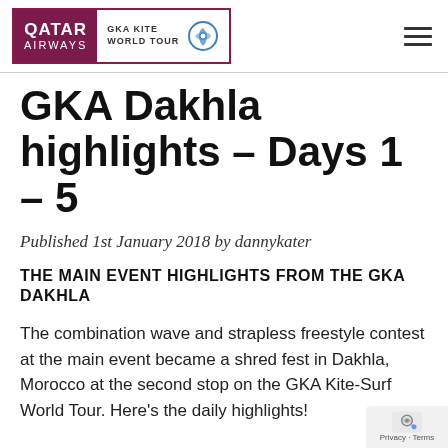QATAR AIRWAYS | GKA KITE WORLD TOUR
GKA Dakhla highlights – Days 1 – 5
Published 1st January 2018 by dannykater
THE MAIN EVENT HIGHLIGHTS FROM THE GKA DAKHLA
The combination wave and strapless freestyle contest at the main event became a shred fest in Dakhla, Morocco at the second stop on the GKA Kite-Surf World Tour. Here's the daily highlights!